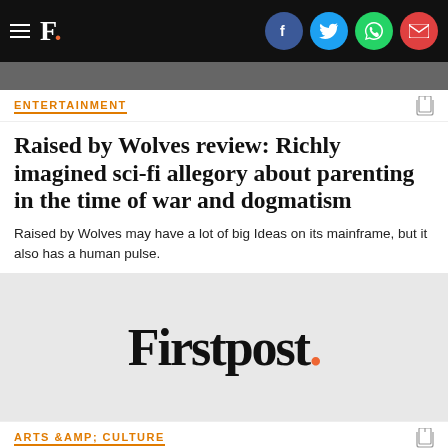F. [Firstpost logo with hamburger menu and social icons: Facebook, Twitter, WhatsApp, Email]
ENTERTAINMENT
Raised by Wolves review: Richly imagined sci-fi allegory about parenting in the time of war and dogmatism
Raised by Wolves may have a lot of big Ideas on its mainframe, but it also has a human pulse.
[Figure (logo): Firstpost logo in large serif font with red period on grey background]
ARTS &AMP; CULTURE
Sans: The world of cast-away ocean art in